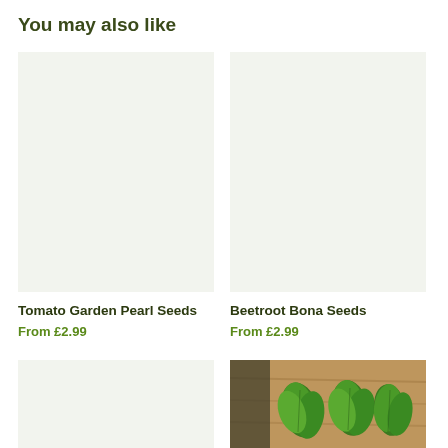You may also like
[Figure (photo): Placeholder image for Tomato Garden Pearl Seeds product]
Tomato Garden Pearl Seeds
From £2.99
[Figure (photo): Placeholder image for Beetroot Bona Seeds product]
Beetroot Bona Seeds
From £2.99
[Figure (photo): Placeholder image for third product (bottom left)]
[Figure (photo): Photo of green leafy plants on wooden surface (bottom right)]